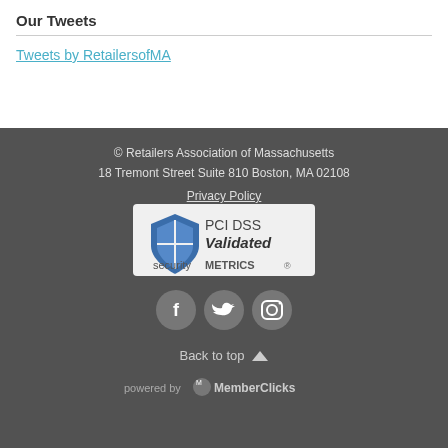Our Tweets
Tweets by RetailersofMA
© Retailers Association of Massachusetts
18 Tremont Street Suite 810 Boston, MA 02108
Privacy Policy
[Figure (logo): PCI DSS Validated - SecurityMetrics badge with shield icon]
[Figure (illustration): Social media icons: Facebook, Twitter, Instagram in dark circles]
Back to top
[Figure (logo): powered by MemberClicks logo]